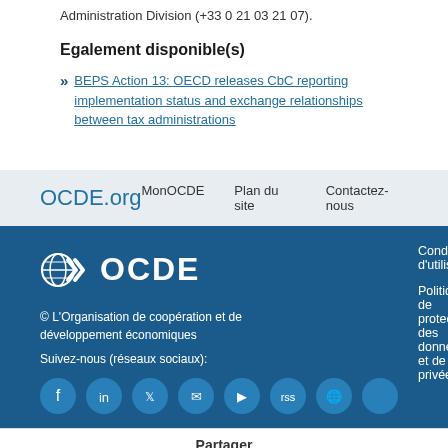Administration Division (+33 0 21 03 21 07).
Egalement disponible(s)
BEPS Action 13: OECD releases CbC reporting implementation status and exchange relationships between tax administrations
OCDE.org  MonOCDE  Plan du site  Contactez-nous
[Figure (logo): OCDE globe and chevron logo with OCDE text]
© L'Organisation de coopération et de développement économiques
Suivez-nous (réseaux sociaux):
Conditions d'utilisation
Politique de protection des données et de la vie privée
Partager